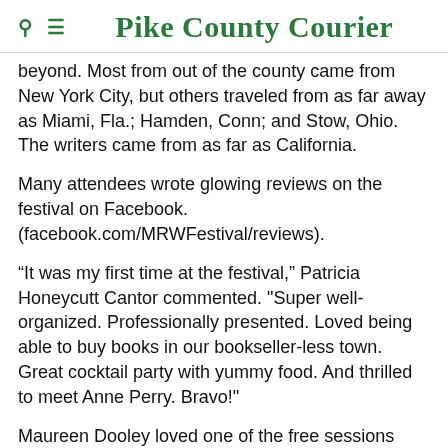Pike County Courier
beyond. Most from out of the county came from New York City, but others traveled from as far away as Miami, Fla.; Hamden, Conn; and Stow, Ohio. The writers came from as far as California.
Many attendees wrote glowing reviews on the festival on Facebook. (facebook.com/MRWFestival/reviews).
“It was my first time at the festival,” Patricia Honeycutt Cantor commented. "Super well-organized. Professionally presented. Loved being able to buy books in our bookseller-less town. Great cocktail party with yummy food. And thrilled to meet Anne Perry. Bravo!"
Maureen Dooley loved one of the free sessions given by Dr. Angela Parrino, who started her own company, GP’s Honey Tomes, to publish children’s books. Parrino